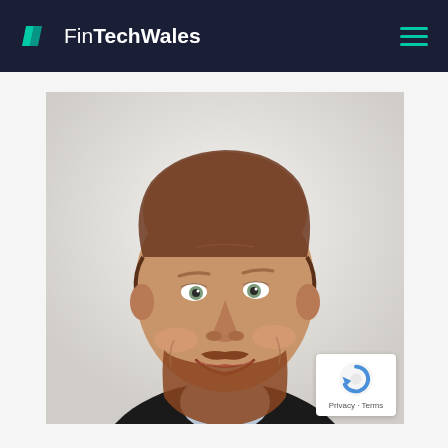FinTechWales
[Figure (photo): Headshot of a smiling middle-aged man with reddish-brown beard and thinning hair, wearing a dark sweater over a light blue collared shirt, against a light/white background.]
Privacy · Terms